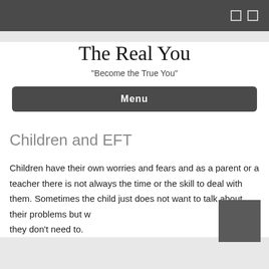The Real You
"Become the True You"
Menu
Children and EFT
Children have their own worries and fears and as a parent or a teacher there is not always the time or the skill to deal with them. Sometimes the child just does not want to talk about their problems but with EFT they don't need to.